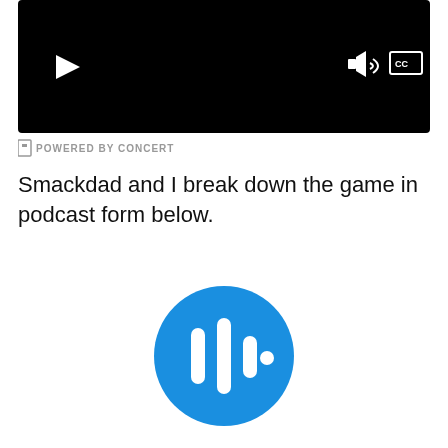[Figure (screenshot): Video player with black background, play button on left, volume and CC buttons on right]
POWERED BY CONCERT
Smackdad and I break down the game in podcast form below.
[Figure (logo): Blue circle podcast logo with white audio waveform bars icon]